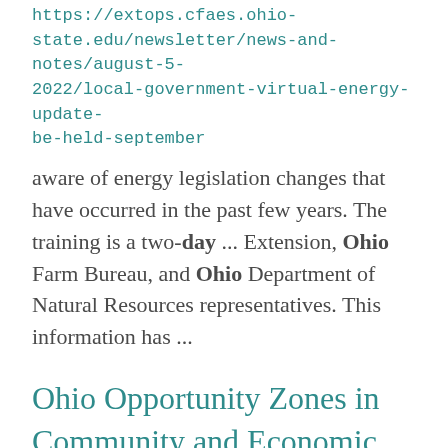https://extops.cfaes.ohio-state.edu/newsletter/news-and-notes/august-5-2022/local-government-virtual-energy-update-be-held-september
aware of energy legislation changes that have occurred in the past few years. The training is a two-day ... Extension, Ohio Farm Bureau, and Ohio Department of Natural Resources representatives. This information has ...
Ohio Opportunity Zones in Community and Economic Development
https://ohioline.osu.edu/factsheet/cdfs-4112